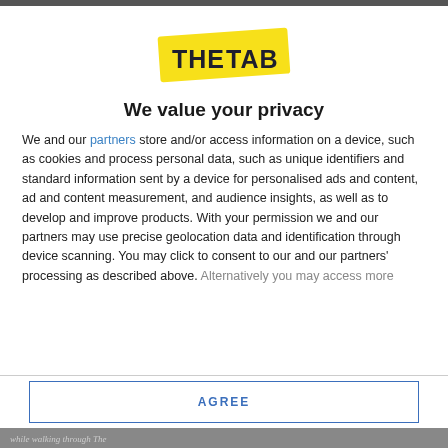[Figure (logo): The Tab logo — yellow tilted banner with bold dark text 'THE TAB']
We value your privacy
We and our partners store and/or access information on a device, such as cookies and process personal data, such as unique identifiers and standard information sent by a device for personalised ads and content, ad and content measurement, and audience insights, as well as to develop and improve products. With your permission we and our partners may use precise geolocation data and identification through device scanning. You may click to consent to our and our partners' processing as described above. Alternatively you may access more
AGREE
MORE OPTIONS